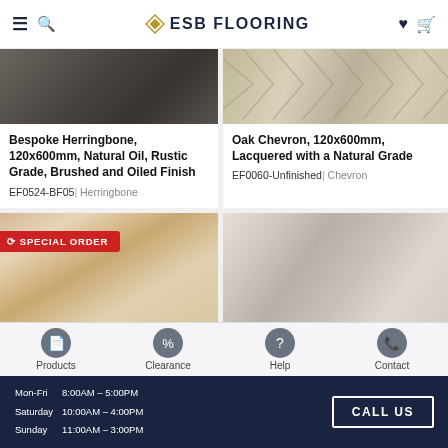ESB FLOORING navigation header with hamburger menu, search, logo, heart, and cart icons
[Figure (photo): Dark wood flooring texture for Bespoke Herringbone product]
Bespoke Herringbone, 120x600mm, Natural Oil, Rustic Grade, Brushed and Oiled Finish
EF0524-BF05 | Herringbone
[Figure (photo): Light oak chevron pattern flooring in a room setting for Oak Chevron product]
Oak Chevron, 120x600mm, Lacquered with a Natural Grade
EF0060-Unfinished | Chevron
[Figure (photo): Room interior with wood paneling - Special Order product image]
[Figure (photo): Modern kitchen interior with flooring product]
Products | Clearance | Help | Contact
Mon-Fri 8:00AM – 5:00PM
Saturday 10:00AM – 4:00PM
Sunday 11:00AM – 3:00PM
CALL US